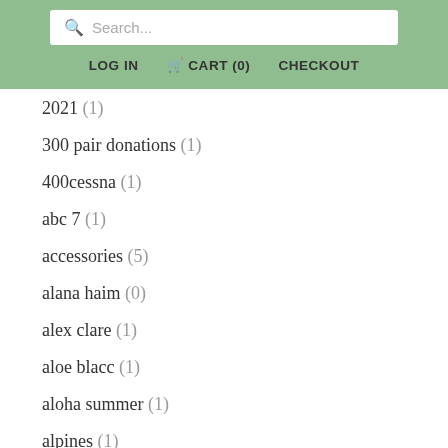Search... | LOG IN | CART (0) | CHECKOUT
2021 (1)
300 pair donations (1)
400cessna (1)
abc 7 (1)
accessories (5)
alana haim (0)
alex clare (1)
aloe blacc (1)
aloha summer (1)
alpines (1)
alt-j (1)